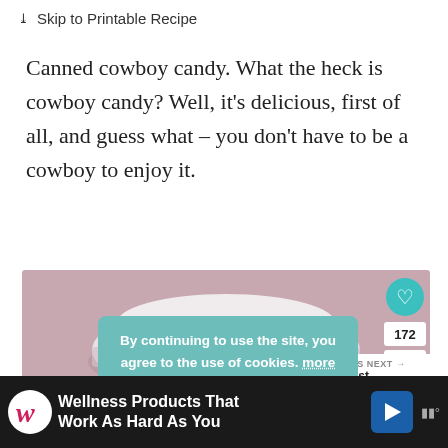↓ Skip to Printable Recipe
Canned cowboy candy. What the heck is cowboy candy? Well, it's delicious, first of all, and guess what – you don't have to be a cowboy to enjoy it.
[Figure (photo): Top-down view of a canning jar lid on a pink/mauve background, with a cookie consent overlay ('By continuing to use the site, you agree to the use of cookies. more information'), a heart/save button showing 172, a share button, and a 'What's Next' panel showing 'A Moist Zucchini...']
By continuing to use the site, you agree to the use of cookies. more information
ACCEPT
WHAT'S NEXT → A Moist Zucchini...
Wellness Products That Work As Hard As You